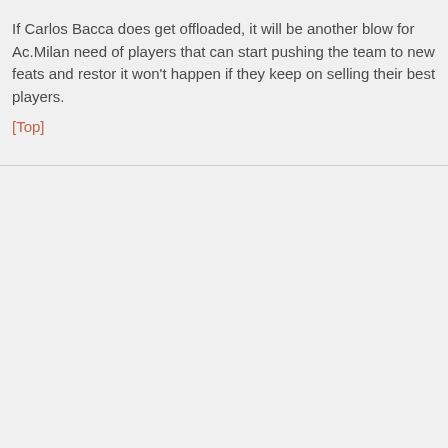If Carlos Bacca does get offloaded, it will be another blow for Ac.Milan need of players that can start pushing the team to new feats and restor it won't happen if they keep on selling their best players.
[Top]